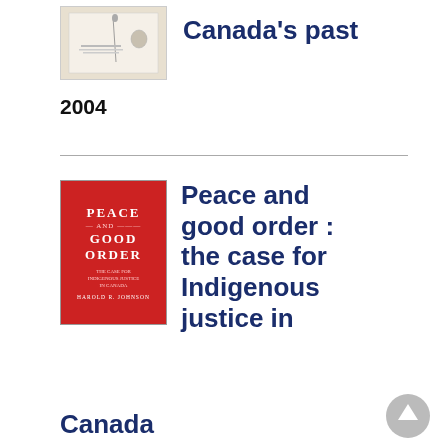[Figure (photo): Book cover thumbnail at top, light colored historical document cover]
Canada's past
2004
[Figure (photo): Book cover of 'Peace and Good Order: The Case for Indigenous Justice in Canada' by Harold R. Johnson, red cover]
Peace and good order : the case for Indigenous justice in Canada